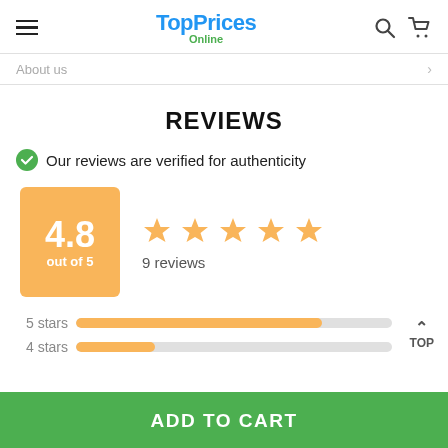TopPrices Online
About us
REVIEWS
Our reviews are verified for authenticity
[Figure (infographic): Rating box showing 4.8 out of 5 with 5 orange stars and 9 reviews]
5 stars
4 stars
TOP
ADD TO CART